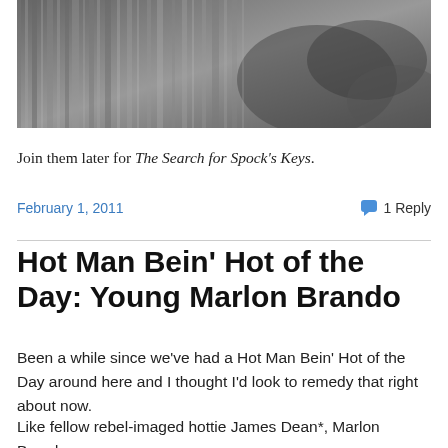[Figure (photo): Black and white photograph, cropped, showing a close-up of a person]
Join them later for The Search for Spock's Keys.
February 1, 2011
1 Reply
Hot Man Bein' Hot of the Day: Young Marlon Brando
Been a while since we've had a Hot Man Bein' Hot of the Day around here and I thought I'd look to remedy that right about now.
Like fellow rebel-imaged hottie James Dean*, Marlon Brando...